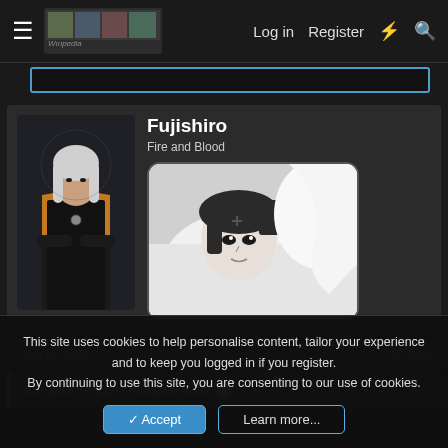Log in   Register
[Figure (screenshot): Forum post by user Fujishiro with avatar showing a fantasy character with white hair and orange-black cape, and a black-and-white anime manga image in the post content area. Username 'Fujishiro' and subtitle 'Fire and Blood' shown.]
Aug 8, 2021   #7,439
SanjiIsStrongerThanZolo said:
This site uses cookies to help personalise content, tailor your experience and to keep you logged in if you register.
By continuing to use this site, you are consenting to our use of cookies.
✓ Accept   Learn more...